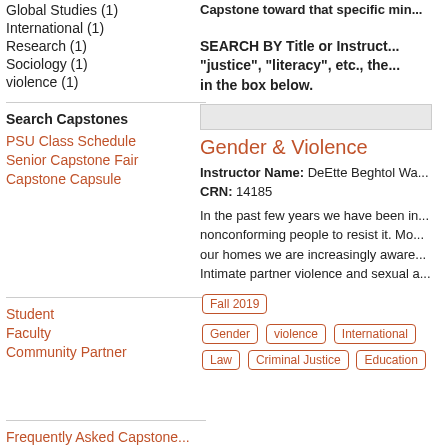Global Studies (1)
International (1)
Research (1)
Sociology (1)
violence (1)
Search Capstones
PSU Class Schedule
Senior Capstone Fair
Capstone Capsule
Student
Faculty
Community Partner
Frequently Asked Capstone...
Capstone toward that specific min...
SEARCH BY Title or Instruct... "justice", "literacy", etc., the... in the box below.
[Figure (other): Search input text box]
Gender & Violence
Instructor Name: DeEtte Beghtol Wa... CRN: 14185
In the past few years we have been in... nonconforming people to resist it. Mo... our homes we are increasingly aware... Intimate partner violence and sexual a...
Fall 2019
Gender   violence   International   Law   Criminal Justice   Education